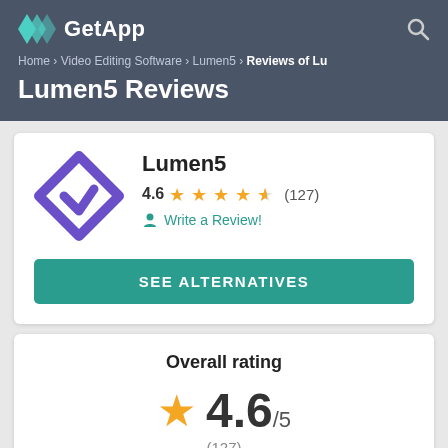GetApp
Home › Video Editing Software › Lumen5 › Reviews of Lu
Lumen5 Reviews
Lumen5
4.6 ★★★★½ (127)
Write a Review!
SEE ALTERNATIVES
Overall rating
4.6/5
(127)